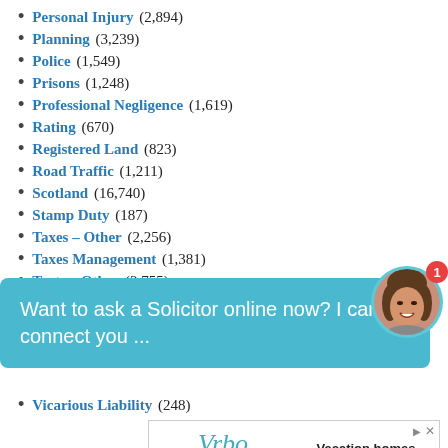Personal Injury (2,894)
Planning (3,239)
Police (1,549)
Prisons (1,248)
Professional Negligence (1,619)
Rating (670)
Registered Land (823)
Road Traffic (1,211)
Scotland (16,740)
Stamp Duty (187)
Taxes – Other (2,256)
Taxes Management (1,381)
Torts – Other (2,755)
Transport (2,040)
Want to ask a Solicitor online now? I can connect you ...
Vicarious Liability (248)
[Figure (screenshot): Vrbo advertisement: vacation home photo with text 'Vacation homes for whoever you call family' and 'Find yours' button]